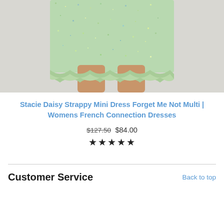[Figure (photo): Photo of a light green/mint speckled mini dress with ruffle hem, worn by a model, cropped to show skirt and legs against a light gray background]
Stacie Daisy Strappy Mini Dress Forget Me Not Multi | Womens French Connection Dresses
$127.50 $84.00
★★★★★
Customer Service   Back to top